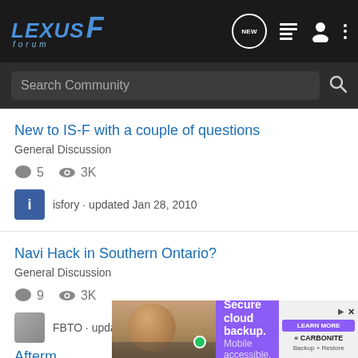Lexus F Forum header with navigation icons: NEW (chat bubble), list, user, menu
Search Community
New to IS-F with a couple of questions
General Discussion
5 replies · 3K views · isfory · updated Jan 28, 2010
Navi Hack in Southern Ontario?
General Discussion
9 replies · 3K views · FBTO · updated Mar 10, 2009
Afterm…
[Figure (screenshot): Advertisement banner: Secure cloud backup. Mobile accessible. - Carbonite Backup + Restore]